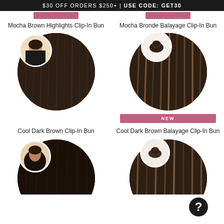$30 OFF ORDERS $250+ | USE CODE: GET30
Mocha Brown Highlights Clip-In Bun
Mocha Bronde Balayage Clip-In Bun
[Figure (photo): Circular photo of dark brown hair extension with inset photo of woman wearing the bun style - Cool Dark Brown Clip-In Bun]
[Figure (photo): Circular photo of dark brown balayage hair extension with inset close-up bun photo and NEW badge - Cool Dark Brown Balayage Clip-In Bun]
Cool Dark Brown Clip-In Bun
Cool Dark Brown Balayage Clip-In Bun
[Figure (photo): Circular photo of dark hair extension with inset woman wearing bun - bottom left product]
[Figure (photo): Circular photo of dark brown balayage hair extension with inset bun close-up and question mark circle - bottom right product]